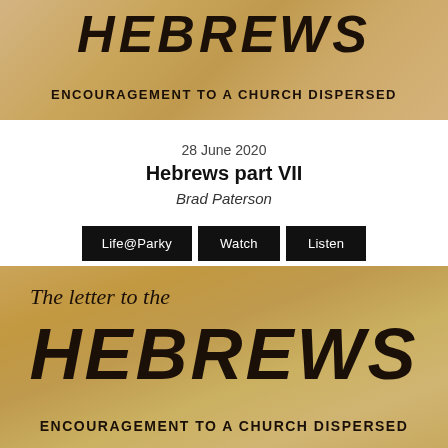[Figure (illustration): Parchment-style banner with 'HEBREWS' in large bold italic letters and subtitle 'ENCOURAGEMENT TO A CHURCH DISPERSED' — top portion cropped]
28 June 2020
Hebrews part VII
Brad Paterson
Life@Parky   Watch   Listen
[Figure (illustration): Parchment-style banner with 'The letter to the HEBREWS' in large bold italic text and subtitle 'ENCOURAGEMENT TO A CHURCH DISPERSED']